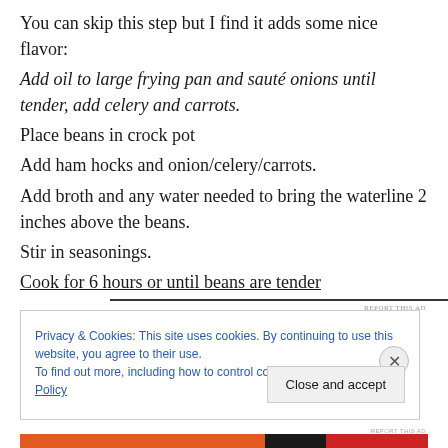You can skip this step but I find it adds some nice flavor:
Add oil to large frying pan and sauté onions until tender, add celery and carrots.
Place beans in crock pot
Add ham hocks and onion/celery/carrots.
Add broth and any water needed to bring the waterline 2 inches above the beans.
Stir in seasonings.
Cook for 6 hours or until beans are tender
Privacy & Cookies: This site uses cookies. By continuing to use this website, you agree to their use. To find out more, including how to control cookies, see here: Cookie Policy
Close and accept